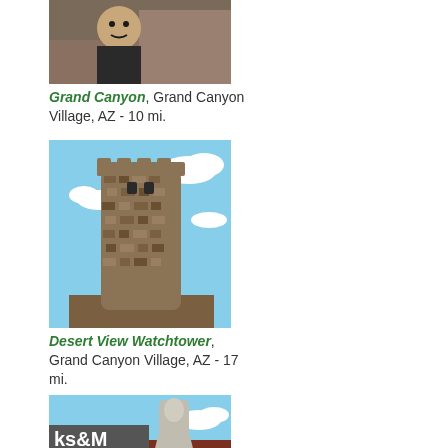[Figure (photo): Photo of a person smiling at the Grand Canyon, rocky landscape in background]
Grand Canyon, Grand Canyon Village, AZ - 10 mi.
[Figure (photo): Photo of the Desert View Watchtower, a stone tower against a blue sky with clouds]
Desert View Watchtower, Grand Canyon Village, AZ - 17 mi.
[Figure (photo): Partial photo showing a sign with 'KS&M' and a stone statue/sculpture against blue sky]